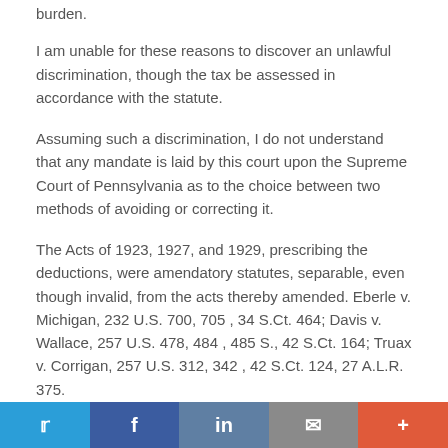burden.
I am unable for these reasons to discover an unlawful discrimination, though the tax be assessed in accordance with the statute.
Assuming such a discrimination, I do not understand that any mandate is laid by this court upon the Supreme Court of Pennsylvania as to the choice between two methods of avoiding or correcting it.
The Acts of 1923, 1927, and 1929, prescribing the deductions, were amendatory statutes, separable, even though invalid, from the acts thereby amended. Eberle v. Michigan, 232 U.S. 700, 705 , 34 S.Ct. 464; Davis v. Wallace, 257 U.S. 478, 484 , 485 S., 42 S.Ct. 164; Truax v. Corrigan, 257 U.S. 312, 342 , 42 S.Ct. 124, 27 A.L.R. 375.
If the statutes containing the deductions are prescribed by the…